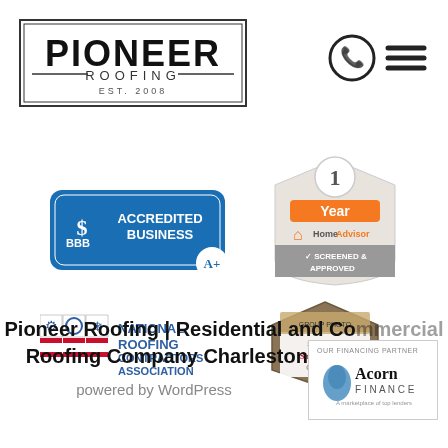[Figure (logo): Pioneer Roofing EST. 2008 logo in a rectangular border]
[Figure (logo): Phone icon and hamburger menu icon in top right]
[Figure (logo): BBB Accredited Business A+ badge]
[Figure (logo): HomeAdvisor 1 Year Screened and Approved badge]
[Figure (logo): National Roofing Contractors Association logo]
[Figure (logo): SELECT ShingleMaster CertainTeed badge]
Pioneer Roofing | Residential and Commercial Roofing Company Charleston SC
powered by WordPress
[Figure (logo): Acorn Finance - Our Financing Partner badge]